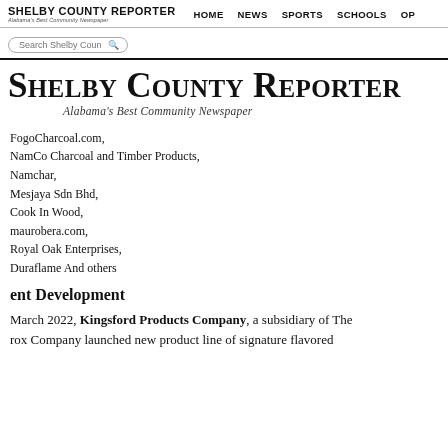Shelby County Reporter | Alabama's Best Community Newspaper | HOME | NEWS | SPORTS | SCHOOLS | OP...
Shelby County Reporter
Alabama's Best Community Newspaper
FogoCharcoal.com,
NamCo Charcoal and Timber Products,
Namchar,
Mesjaya Sdn Bhd,
Cook In Wood,
maurobera.com,
Royal Oak Enterprises,
Duraflame And others
ent Development
March 2022, Kingsford Products Company, a subsidiary of The rox Company launched new product line of signature flavored